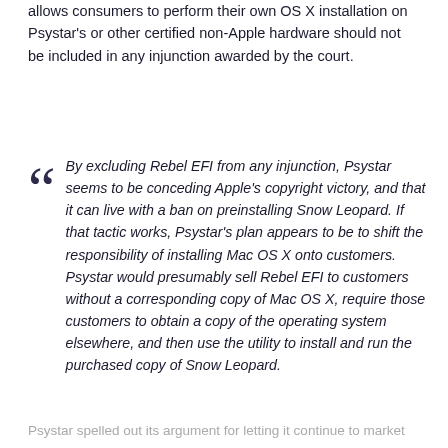allows consumers to perform their own OS X installation on Psystar's or other certified non-Apple hardware should not be included in any injunction awarded by the court.
By excluding Rebel EFI from any injunction, Psystar seems to be conceding Apple's copyright victory, and that it can live with a ban on preinstalling Snow Leopard. If that tactic works, Psystar's plan appears to be to shift the responsibility of installing Mac OS X onto customers. Psystar would presumably sell Rebel EFI to customers without a corresponding copy of Mac OS X, require those customers to obtain a copy of the operating system elsewhere, and then use the utility to install and run the purchased copy of Snow Leopard.
Psystar spelled out its argument for letting it continue to market